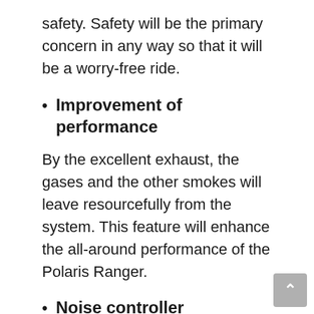safety. Safety will be the primary concern in any way so that it will be a worry-free ride.
Improvement of performance
By the excellent exhaust, the gases and the other smokes will leave resourcefully from the system. This feature will enhance the all-around performance of the Polaris Ranger.
Noise controller
The exhaust system will help you reduce the sound that comes when you move or turn the vehicles. It will make it